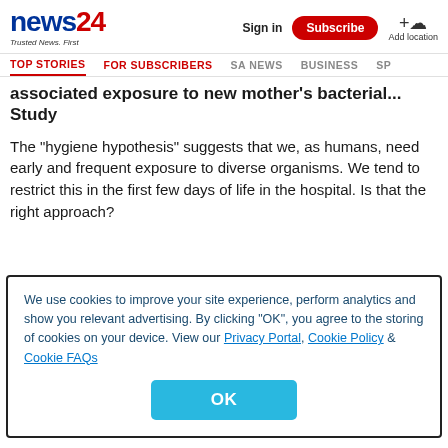news24 | Trusted News. First | Sign in | Subscribe | Add location
TOP STORIES | FOR SUBSCRIBERS | SA NEWS | BUSINESS | SP
...associated exposure to new mother's bacterial... Study
The "hygiene hypothesis" suggests that we, as humans, need early and frequent exposure to diverse organisms. We tend to restrict this in the first few days of life in the hospital. Is that the right approach?
We use cookies to improve your site experience, perform analytics and show you relevant advertising. By clicking "OK", you agree to the storing of cookies on your device. View our Privacy Portal, Cookie Policy & Cookie FAQs
OK